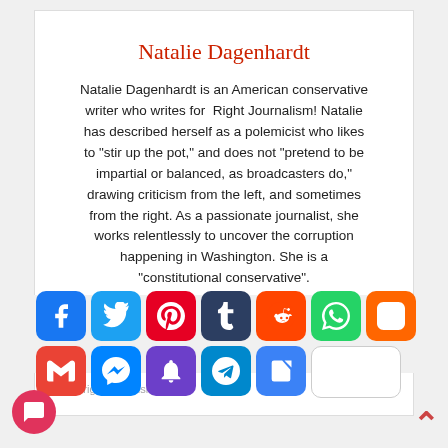Natalie Dagenhardt
Natalie Dagenhardt is an American conservative writer who writes for Right Journalism! Natalie has described herself as a polemicist who likes to “stir up the pot,” and does not “pretend to be impartial or balanced, as broadcasters do,” drawing criticism from the left, and sometimes from the right. As a passionate journalist, she works relentlessly to uncover the corruption happening in Washington. She is a “constitutional conservative”.
www.rightjournalism.com/
[Figure (infographic): Row of social media share buttons: Facebook, Twitter, Pinterest, Tumblr, Reddit, WhatsApp, Blogger, Gmail, Messenger, Ring/notification, Telegram, Share+, and a blank white button]